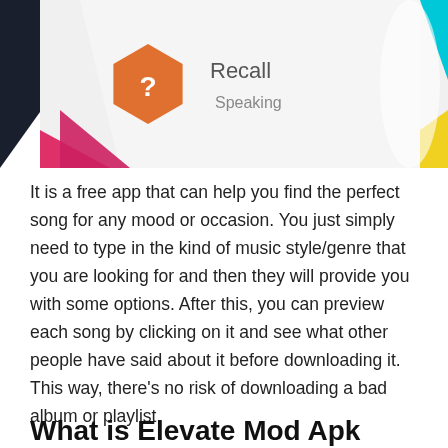[Figure (screenshot): Screenshot of a mobile app (Elevate) showing flashcard/quiz interface with orange hexagon icon with question mark labeled 'Recall', text 'Speaking' below it, a pink/magenta shape partially visible at bottom left, and a cyan/yellow geometric shape at top right, on a white/light gray background.]
It is a free app that can help you find the perfect song for any mood or occasion. You just simply need to type in the kind of music style/genre that you are looking for and then they will provide you with some options. After this, you can preview each song by clicking on it and see what other people have said about it before downloading it. This way, there’s no risk of downloading a bad album or playlist.
What is Elevate Mod Apk